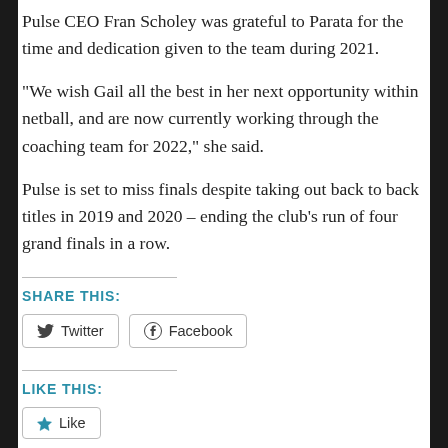Pulse CEO Fran Scholey was grateful to Parata for the time and dedication given to the team during 2021.
“We wish Gail all the best in her next opportunity within netball, and are now currently working through the coaching team for 2022,” she said.
Pulse is set to miss finals despite taking out back to back titles in 2019 and 2020 – ending the club’s run of four grand finals in a row.
SHARE THIS:
Twitter  Facebook
LIKE THIS:
Like